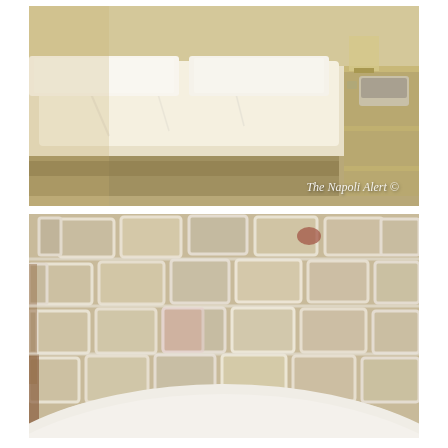[Figure (photo): Hotel room photograph showing a neatly made double bed with white linens, a wooden nightstand with a lamp and telephone on the right side. The room has warm beige/cream tones. Watermark 'The Napoli Alert ©' in the bottom right corner.]
[Figure (photo): Close-up photograph of an arched ceiling or vault made of ancient stone blocks in a rustic beige/cream color. The stones are irregular rectangular shapes with white mortar joints, arranged in a curved arch pattern. The bottom of the image shows the beginning of a white curved surface.]